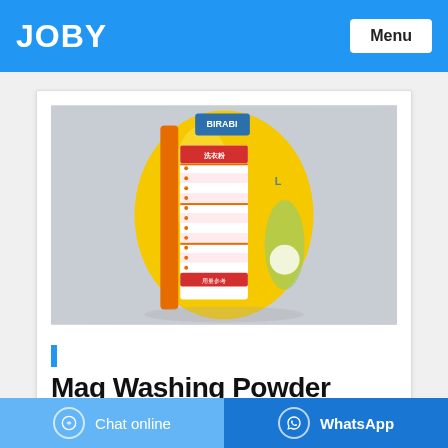JOBY
[Figure (photo): A yellow laundry detergent/washing powder bag (Mag brand) photographed from the side, showing the back label with usage instructions in a red and white table layout. The bag is bright yellow with orange accents. Background is light grey.]
Mag Washing Powder